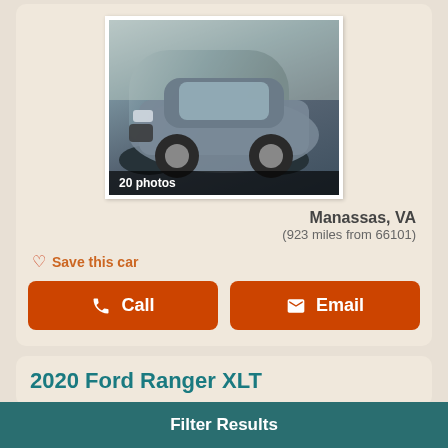[Figure (photo): Photo of a gray Nissan Murano SUV parked outdoors, with badge showing '20 photos']
Manassas, VA
(923 miles from 66101)
Save this car
Call
Email
2020 Ford Ranger XLT
Filter Results